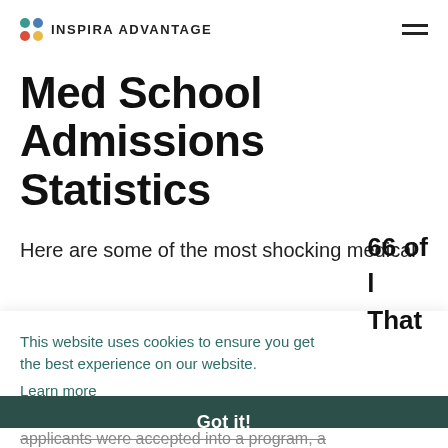INSPIRA ADVANTAGE
Med School Admissions Statistics
Here are some of the most shocking medical
This website uses cookies to ensure you get the best experience on our website.
Learn more
66 of
l
That
Got it!
applicants were accepted into a program, a